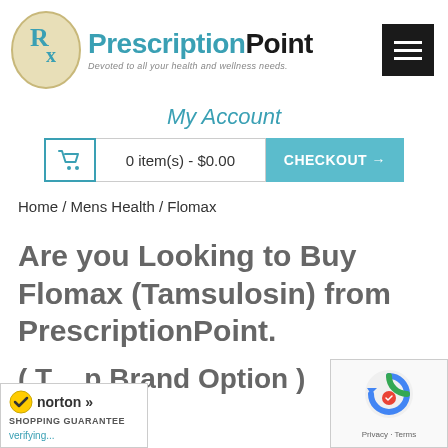[Figure (logo): PrescriptionPoint logo with Rx oval icon and tagline 'Devoted to all your health and wellness needs.']
[Figure (other): Hamburger menu icon (three horizontal white lines on black background)]
My Account
0 item(s) - $0.00   CHECKOUT →
Home / Mens Health / Flomax
Are you Looking to Buy Flomax (Tamsulosin) from PrescriptionPoint.
( Top Brand Option )
[Figure (logo): Norton Shopping Guarantee badge with checkmark]
[Figure (other): Google reCAPTCHA badge with Privacy and Terms links]